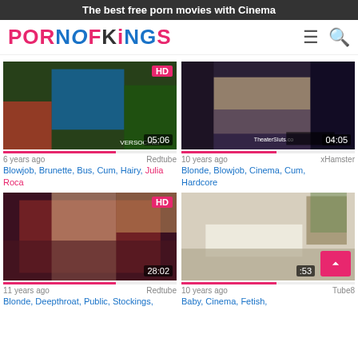The best free porn movies with Cinema
PORNOFKINGS
[Figure (screenshot): Video thumbnail 1: outdoor scene, HD badge, duration 05:06, watermark VERSOCINEr]
6 years ago   Redtube
Blowjob, Brunette, Bus, Cum, Hairy, Julia Roca
[Figure (screenshot): Video thumbnail 2: blonde scene, duration 04:05, watermark TheaterSluts.co]
10 years ago   xHamster
Blonde, Blowjob, Cinema, Cum, Hardcore
[Figure (screenshot): Video thumbnail 3: HD badge, duration 28:02, adult content]
11 years ago   Redtube
Blonde, Deepthroat, Public, Stockings
[Figure (screenshot): Video thumbnail 4: bedroom scene, duration partially visible :53]
10 years ago   Tube8
Baby, Cinema, Fetish, ...